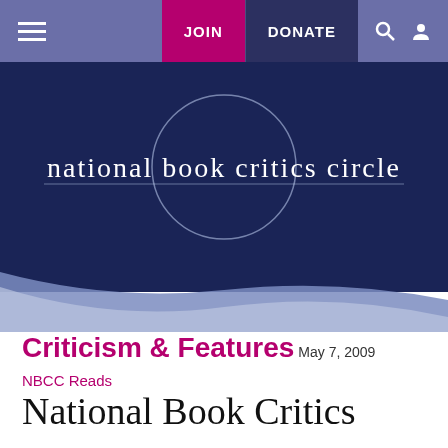≡  JOIN  DONATE  🔍  👤
[Figure (logo): National Book Critics Circle logo: white lowercase text 'national book critics circle' on dark navy background with a circle outline around the word 'critics']
Criticism & Features
May 7, 2009
NBCC Reads
National Book Critics